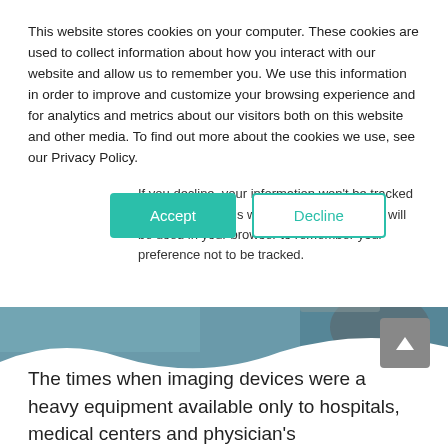This website stores cookies on your computer. These cookies are used to collect information about how you interact with our website and allow us to remember you. We use this information in order to improve and customize your browsing experience and for analytics and metrics about our visitors both on this website and other media. To find out more about the cookies we use, see our Privacy Policy.
If you decline, your information won’t be tracked when you visit this website. A single cookie will be used in your browser to remember your preference not to be tracked.
[Figure (other): Accept and Decline cookie consent buttons. Accept is a filled teal/green button, Decline is an outlined teal/green button.]
[Figure (photo): Medical imaging scene: blurred photo of a person holding a tablet/device in a clinical setting with teal/blue tones and a white wave overlay at the bottom.]
[Figure (other): Gray scroll-to-top button with upward caret arrow icon.]
The times when imaging devices were a heavy equipment available only to hospitals, medical centers and physician's